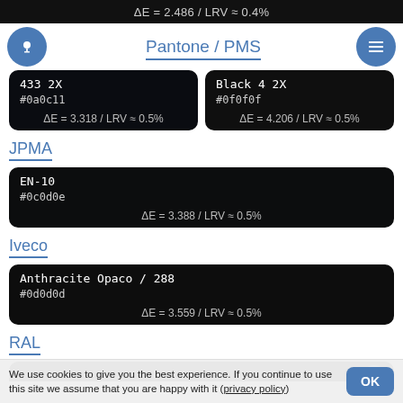ΔE = 2.486 / LRV ≈ 0.4%
Pantone / PMS
| Color | Hex | Delta |
| --- | --- | --- |
| 433 2X | #0a0c11 | ΔE = 3.318 / LRV ≈ 0.5% |
| Black 4 2X | #0f0f0f | ΔE = 4.206 / LRV ≈ 0.5% |
JPMA
| Color | Hex | Delta |
| --- | --- | --- |
| EN-10 | #0c0d0e | ΔE = 3.388 / LRV ≈ 0.5% |
Iveco
| Color | Hex | Delta |
| --- | --- | --- |
| Anthracite Opaco / 288 | #0d0d0d | ΔE = 3.559 / LRV ≈ 0.5% |
RAL
We use cookies to give you the best experience. If you continue to use this site we assume that you are happy with it (privacy policy)